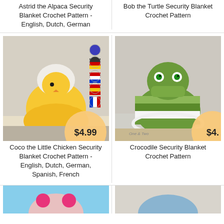Astrid the Alpaca Security Blanket Crochet Pattern - English, Dutch, German
Bob the Turtle Security Blanket Crochet Pattern
[Figure (photo): Coco the Little Chicken Security Blanket crochet toy - yellow chick figure with crocheted dress, with flag icons on the side and a $4.99 price bubble]
[Figure (photo): Crocodile Security Blanket crochet toy - green crocodile lovey with white trim, with a $4. price bubble]
Coco the Little Chicken Security Blanket Crochet Pattern - English, Dutch, German, Spanish, French
Crocodile Security Blanket Crochet Pattern
[Figure (photo): Partial view of another crochet product on blue background]
[Figure (photo): Partial view of another crochet product]